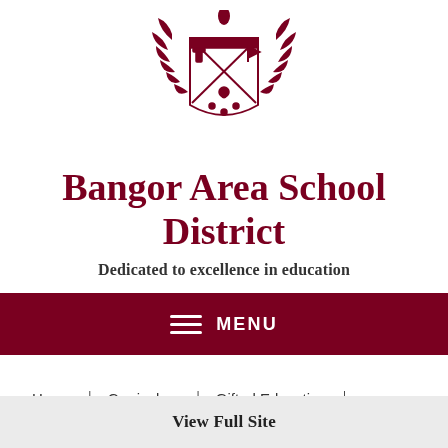[Figure (logo): Bangor Area School District coat of arms / crest in dark red/maroon color]
Bangor Area School District
Dedicated to excellence in education
MENU
Home | Curriculum | Gifted Education |
View Full Site